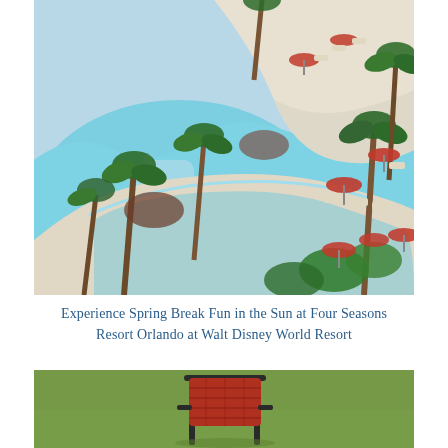[Figure (photo): Aerial view of a resort pool area with palm trees, red patio umbrellas, lounge chairs on white pavement, and a large curved blue swimming pool with a water slide.]
Experience Spring Break Fun in the Sun at Four Seasons Resort Orlando at Walt Disney World Resort
[Figure (photo): Close-up of a red patio/lounge chair with metal frame on a green lawn or grass surface.]